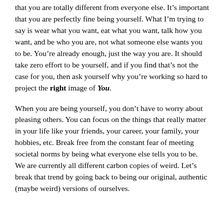that you are totally different from everyone else. It's important that you are perfectly fine being yourself. What I'm trying to say is wear what you want, eat what you want, talk how you want, and be who you are, not what someone else wants you to be. You're already enough, just the way you are. It should take zero effort to be yourself, and if you find that's not the case for you, then ask yourself why you're working so hard to project the right image of You.
When you are being yourself, you don't have to worry about pleasing others. You can focus on the things that really matter in your life like your friends, your career, your family, your hobbies, etc. Break free from the constant fear of meeting societal norms by being what everyone else tells you to be. We are currently all different carbon copies of weird. Let's break that trend by going back to being our original, authentic (maybe weird) versions of ourselves.